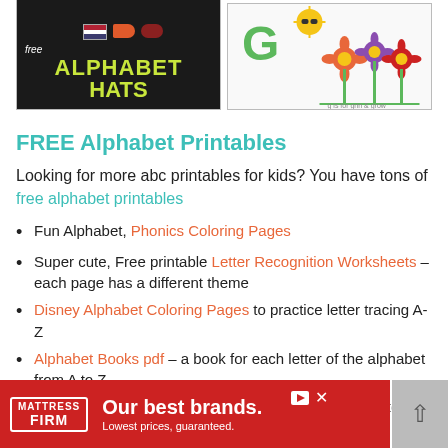[Figure (illustration): Two educational printable images side by side: left shows 'Free Alphabet Hats' on dark background with green text; right shows letter G with colorful flowers and sun]
FREE Alphabet Printables
Looking for more abc printables for kids? You have tons of free alphabet printables
Fun Alphabet, Phonics Coloring Pages
Super cute, Free printable Letter Recognition Worksheets – each page has a different theme
Disney Alphabet Coloring Pages to practice letter tracing A-Z
Alphabet Books pdf – a book for each letter of the alphabet from A to Z
[Figure (advertisement): Mattress Firm advertisement banner: red background, white text reading 'Our best brands. Lowest prices, guaranteed.']